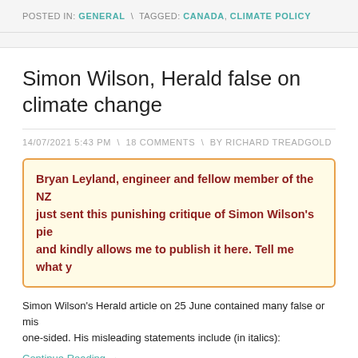POSTED IN: GENERAL \ TAGGED: CANADA, CLIMATE POLICY
Simon Wilson, Herald false on climate change
14/07/2021 5:43 PM  \  18 COMMENTS  \  BY RICHARD TREADGOLD
Bryan Leyland, engineer and fellow member of the NZ just sent this punishing critique of Simon Wilson's pie and kindly allows me to publish it here. Tell me what y
Simon Wilson's Herald article on 25 June contained many false or mis one-sided. His misleading statements include (in italics):
Continue Reading →
Hits: 484